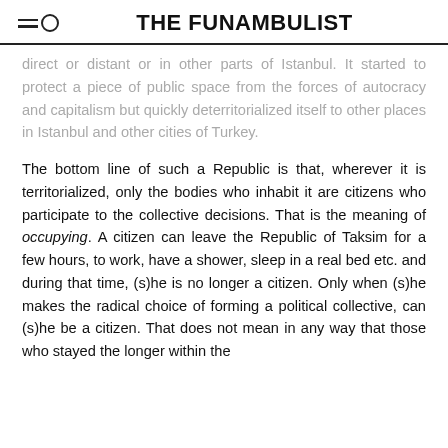THE FUNAMBULIST
started to protect a piece of public space from the forces of autocracy and capitalism but quickly deterritorialized itself to other places in Istanbul and other cities of Turkey.
The bottom line of such a Republic is that, wherever it is territorialized, only the bodies who inhabit it are citizens who participate to the collective decisions. That is the meaning of occupying. A citizen can leave the Republic of Taksim for a few hours, to work, have a shower, sleep in a real bed etc. and during that time, (s)he is no longer a citizen. Only when (s)he makes the radical choice of forming a political collective, can (s)he be a citizen. That does not mean in any way that those who stayed the longer within the